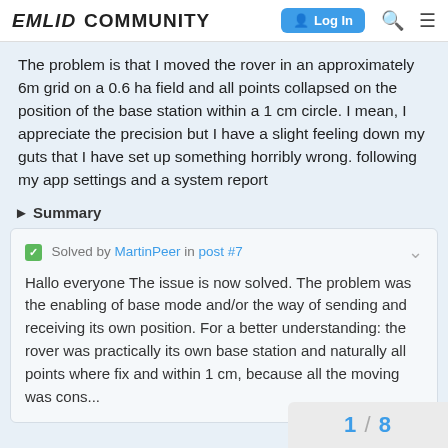EMLID COMMUNITY  Log In
The problem is that I moved the rover in an approximately 6m grid on a 0.6 ha field and all points collapsed on the position of the base station within a 1 cm circle. I mean, I appreciate the precision but I have a slight feeling down my guts that I have set up something horribly wrong. following my app settings and a system report
► Summary
✓ Solved by MartinPeer in post #7
Hallo everyone The issue is now solved. The problem was the enabling of base mode and/or the way of sending and receiving its own position. For a better understanding: the rover was practically its own base station and naturally all points where fix and within 1 cm, because all the moving was cons...
1 / 8